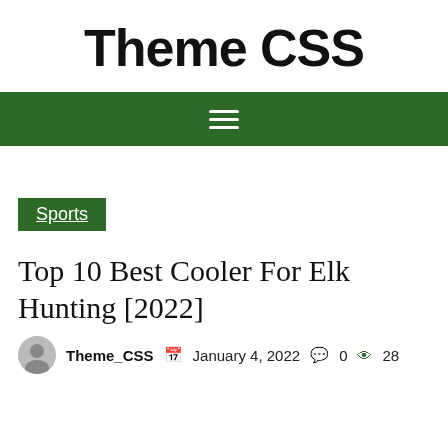Theme CSS
[Figure (other): Dark green navigation bar with white hamburger menu icon (three horizontal lines)]
Sports
Top 10 Best Cooler For Elk Hunting [2022]
Theme_CSS  January 4, 2022  0  28